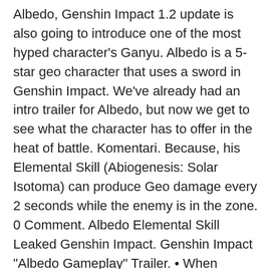Albedo, Genshin Impact 1.2 update is also going to introduce one of the most hyped character's Ganyu. Albedo is a 5-star geo character that uses a sword in Genshin Impact. We've already had an intro trailer for Albedo, but now we get to see what the character has to offer in the heat of battle. Komentari. Because, his Elemental Skill (Abiogenesis: Solar Isotoma) can produce Geo damage every 2 seconds while the enemy is in the zone. 0 Comment. Albedo Elemental Skill Leaked Genshin Impact. Genshin Impact "Albedo Gameplay" Trailer. • When enemies within the Solar Isotoma field take DMG, the Solar Isotoma will generate Transient Blossoms which deal AoE Geo DMG. Genshin Impact ภาษา Gameplay ตัว "Albedo: ผู้พิทักษ์มังกรแห่งดิน" ซับไทยภาษาไทย !! Based on the demonstration of his ability, Albedo at first glance leans more towards the main dps character